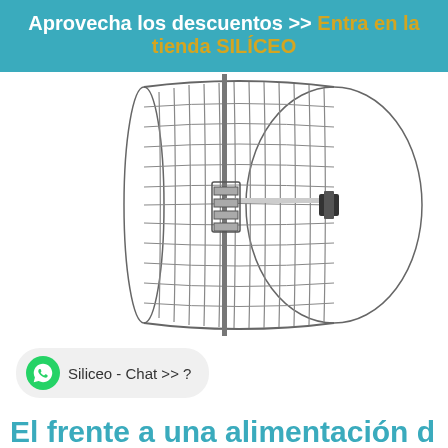Aprovecha los descuentos >> Entra en la tienda SILÍCEO
[Figure (photo): Grid parabolic antenna/dish on a vertical pole with mounting hardware and a small transceiver unit attached at the focal point. The antenna is a large cylindrical wire grid reflector.]
Siliceo - Chat >> ?
El frente a una alimentación d